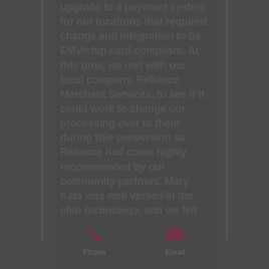upgrade to a payment system for our locations that required change and integration to be EMV/chip card compliant. At this time, we met with our local company, Reliance Merchant Services, to see if it could work to change our processing over to them during this conversion as Reliance had come highly recommended by our community partners. Mary Kate was well versed in the chip technology, and we felt comfortable that she and her team would stand by this integration and work with our POS and hardware vendors to get to completion without a disruption to our payment
Phone   Email